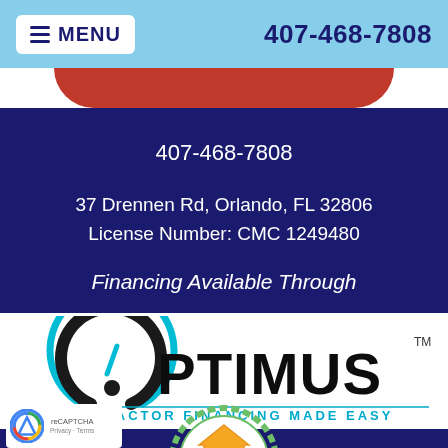MENU   407-468-7808
407-468-7808
37 Drennen Rd, Orlando, FL 32806
License Number: CMC 1249480
Financing Available Through
[Figure (logo): Optimus logo with circular gauge icon, text OPTIMUS TM, and tagline CONTRACTOR FINANCING MADE EASY]
[Figure (logo): Google reCAPTCHA badge with Privacy and Terms links]
[Figure (logo): SELF - Easy Loans For Improving Homes badge, partially visible]